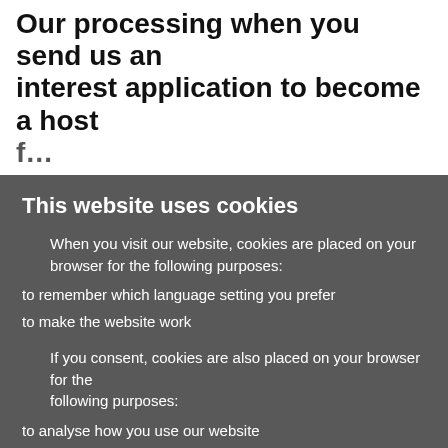Our processing when you send us an interest application to become a host f…
This website uses cookies
When you visit our website, cookies are placed on your browser for the following purposes:
to remember which language setting you prefer
to make the website work
If you consent, cookies are also placed on your browser for the following purposes:
to analyse how you use our website
to provide relevant offers and marketing to you